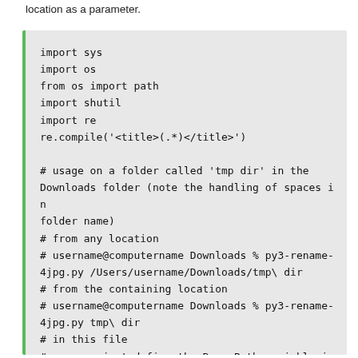location as a parameter.
import sys
import os
from os import path
import shutil
import re
re.compile('<title>(.*)</title>')

# usage on a folder called 'tmp dir' in the Downloads folder (note the handling of spaces in folder name)
# from any location
# username@computername Downloads % py3-rename-4jpg.py /Users/username/Downloads/tmp\ dir
# from the containing location
# username@computername Downloads % py3-rename-4jpg.py tmp\ dir
# in this file
# you can just define the Base_Path variable in this file instead